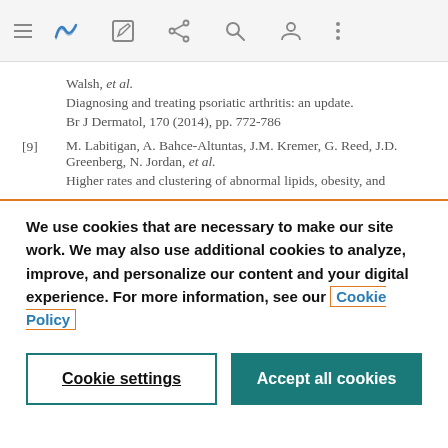Navigation bar with icons
Walsh, et al.
Diagnosing and treating psoriatic arthritis: an update.
Br J Dermatol, 170 (2014), pp. 772-786
[9] M. Labitigan, A. Bahce-Altuntas, J.M. Kremer, G. Reed, J.D. Greenberg, N. Jordan, et al.
Higher rates and clustering of abnormal lipids, obesity, and
We use cookies that are necessary to make our site work. We may also use additional cookies to analyze, improve, and personalize our content and your digital experience. For more information, see our Cookie Policy
Cookie settings
Accept all cookies